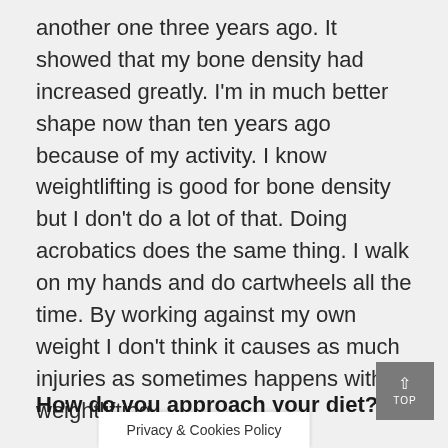another one three years ago. It showed that my bone density had increased greatly. I'm in much better shape now than ten years ago because of my activity. I know weightlifting is good for bone density but I don't do a lot of that. Doing acrobatics does the same thing. I walk on my hands and do cartwheels all the time. By working against my own weight I don't think it causes as much injuries as sometimes happens with weightlifting.
How do you approach your diet?
Privacy & Cookies Policy